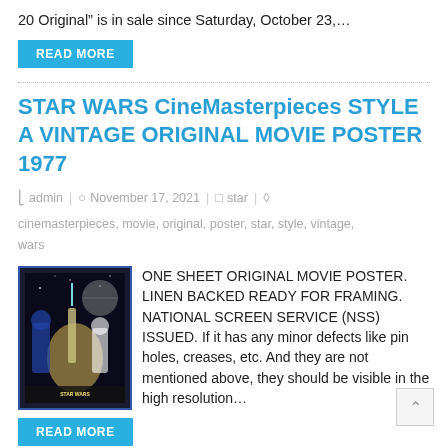20 Original" is in sale since Saturday, October 23,…
READ MORE
STAR WARS CineMasterpieces STYLE A VINTAGE ORIGINAL MOVIE POSTER 1977
admin | November 17, 2021 | star | cinemasterpieces, movie, original, poster, star, style, vintage, wars
[Figure (photo): Star Wars movie poster thumbnail with blue border]
ONE SHEET ORIGINAL MOVIE POSTER. LINEN BACKED READY FOR FRAMING. NATIONAL SCREEN SERVICE (NSS) ISSUED. If it has any minor defects like pin holes, creases, etc. And they are not mentioned above, they should be visible in the high resolution…
READ MORE